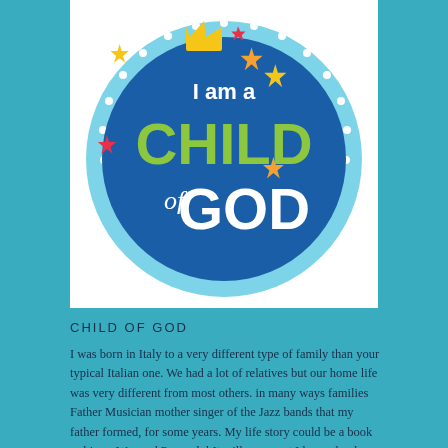[Figure (illustration): A circular badge with a dark blue background and light blue border decorated with white dots. The badge features a gold crown at the top, colorful stars (red, yellow, orange), and the text 'I am a CHILD of GOD'. 'I am a' is in white, 'CHILD' is in large lime green letters, 'of' is in white italic script, and 'GOD' is in large white letters.]
CHILD OF GOD
I was born in Italy to a very different type of family than your typical Italian one. We had a lot of relatives but our home life was very different from most others. in many ways families Father Musician mother singer of the Jazz bands that my father formed, for some years. My life story could be a book as big as War and Peace. lol It will come out I hope clearly as I